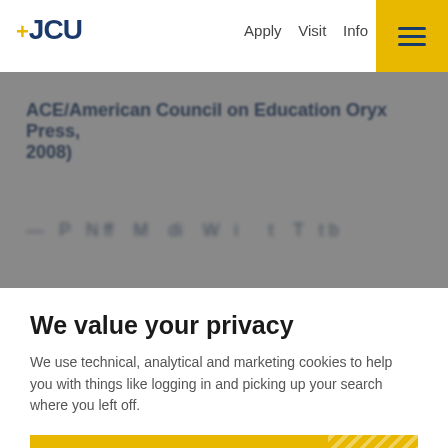+JCU | Apply | Visit | Info
ACE/American Council on Education Oryx Press, 2008)
We value your privacy
We use technical, analytical and marketing cookies to help you with things like logging in and picking up your search where you left off.
Accept Cookies
No Thanks
View Cookie Settings